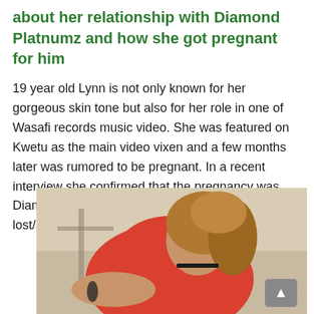about her relationship with Diamond Platnumz and how she got pregnant for him
19 year old Lynn is not only known for her gorgeous skin tone but also for her role in one of Wasafi records music video. She was featured on Kwetu as the main video vixen and a few months later was rumored to be pregnant. In a recent interview she confirmed that the pregnancy was Diamond Platnumz but unfortunately she lost/aborted it.
[Figure (photo): A young woman with curly auburn/golden hair wearing a red outfit and a black choker necklace, photographed outdoors with a light sandy background.]